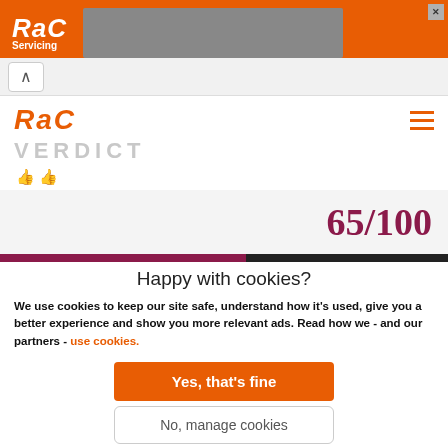[Figure (screenshot): RAC Servicing advertisement banner at top of browser page]
[Figure (screenshot): Browser navigation bar with back arrow]
[Figure (screenshot): RAC logo header with hamburger menu, VERDICT text, thumbs down icons, and 65/100 score with progress bar]
Happy with cookies?
We use cookies to keep our site safe, understand how it's used, give you a better experience and show you more relevant ads. Read how we - and our partners - use cookies.
Yes, that's fine
No, manage cookies